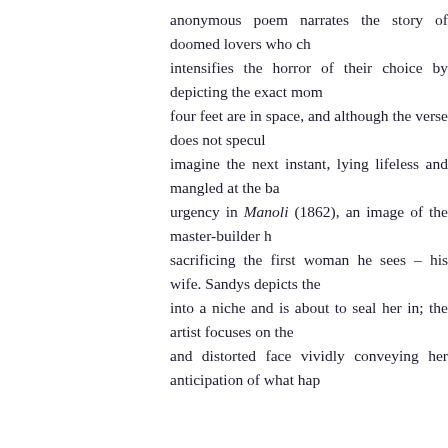anonymous poem narrates the story of doomed lovers who ch... intensifies the horror of their choice by depicting the exact mom... four feet are in space, and although the verse does not specul... imagine the next instant, lying lifeless and mangled at the ba... urgency in Manoli (1862), an image of the master-builder h... sacrificing the first woman he sees – his wife. Sandys depicts the... into a niche and is about to seal her in; the artist focuses on the... and distorted face vividly conveying her anticipation of what hap...